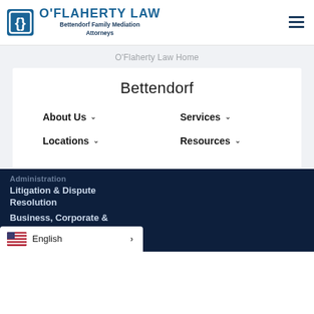[Figure (logo): O'Flaherty Law logo with square bracket icon and text 'O'FLAHERTY LAW Bettendorf Family Mediation Attorneys']
O'Flaherty Law Home
Bettendorf
About Us ∨
Services ∨
Locations ∨
Resources ∨
Litigation & Dispute Resolution
Business, Corporate &
English